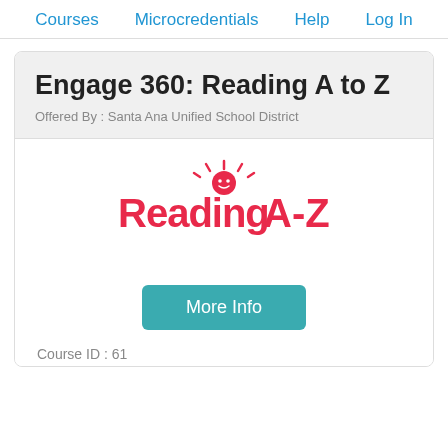Courses   Microcredentials   Help   Log In
Engage 360: Reading A to Z
Offered By : Santa Ana Unified School District
[Figure (logo): Reading A-Z logo with red stylized sun above the text]
More Info
Course ID : 61